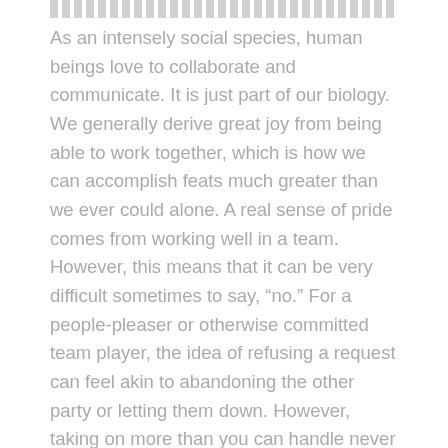[Title obscured by strikethrough bar]
As an intensely social species, human beings love to collaborate and communicate. It is just part of our biology. We generally derive great joy from being able to work together, which is how we can accomplish feats much greater than we ever could alone. A real sense of pride comes from working well in a team. However, this means that it can be very difficult sometimes to say, “no.” For a people-pleaser or otherwise committed team player, the idea of refusing a request can feel akin to abandoning the other party or letting them down. However, taking on more than you can handle never serves you in the long-term. As a result, it diminishes your ability to positively contribute to a larger, combined effort beyond the issue immediately at hand. So, while you may be able